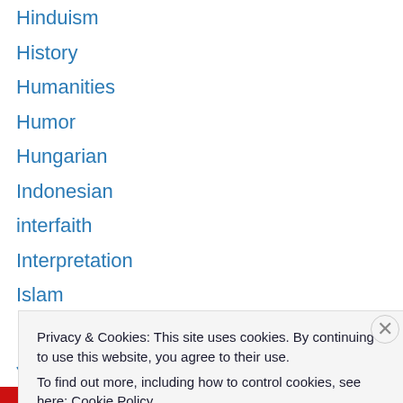Hinduism
History
Humanities
Humor
Hungarian
Indonesian
interfaith
Interpretation
Islam
Italian
Jamaican Patois
Japanese
Journalism
Judaism
Privacy & Cookies: This site uses cookies. By continuing to use this website, you agree to their use. To find out more, including how to control cookies, see here: Cookie Policy
Close and accept